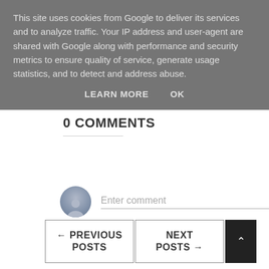This site uses cookies from Google to deliver its services and to analyze traffic. Your IP address and user-agent are shared with Google along with performance and security metrics to ensure quality of service, generate usage statistics, and to detect and address abuse.
LEARN MORE   OK
0 COMMENTS
Enter comment
← PREVIOUS POSTS
NEXT POSTS →